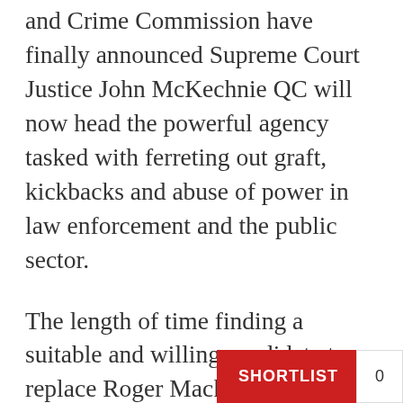and Crime Commission have finally announced Supreme Court Justice John McKechnie QC will now head the powerful agency tasked with ferreting out graft, kickbacks and abuse of power in law enforcement and the public sector.
The length of time finding a suitable and willing candidate to replace Roger Macknay, QC, who quit on 14 April 2014, has underscored the difficulty of the job which had previously spanned across both major crime and corruption to less serious minor misconduct and governance education functions.
In what appears to b… concession to the C…